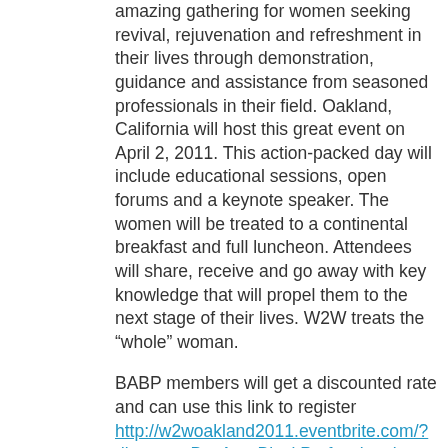amazing gathering for women seeking revival, rejuvenation and refreshment in their lives through demonstration, guidance and assistance from seasoned professionals in their field. Oakland, California will host this great event on April 2, 2011. This action-packed day will include educational sessions, open forums and a keynote speaker. The women will be treated to a continental breakfast and full luncheon. Attendees will share, receive and go away with key knowledge that will propel them to the next stage of their lives. W2W treats the “whole” woman.
BABP members will get a discounted rate and can use this link to register http://w2woakland2011.eventbrite.com/?discount=BayAreaBlackProfessionals
Looking to sponsor this event, please see below: